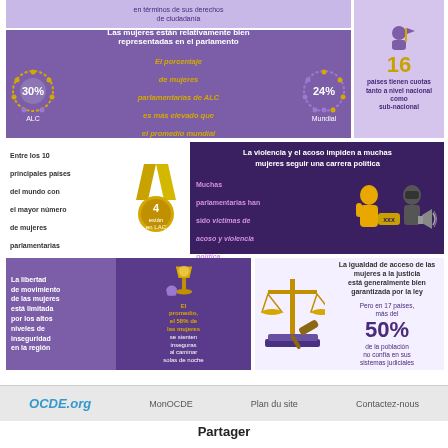[Figure (infographic): Top partial banner: text about women's citizenship rights in purple box]
[Figure (infographic): Women relatively well represented in parliament: 30% ALC vs 24% Mundial, with circular dot icons]
[Figure (infographic): 16 countries with quotas at national and sub-national level]
[Figure (infographic): Among top 10 countries with most women parliamentarians, 4 are in LAC (medal icon)]
[Figure (infographic): Violence and harassment prevent women from political careers; many parliamentarians victims of harassment and political violence]
[Figure (infographic): Women's freedom of movement limited by high insecurity; average 58% feel unsafe walking alone at night]
[Figure (infographic): Equal access to justice generally guaranteed by law, but in 17 countries more than 50% don't trust judicial systems]
OCDE.org   MonOCDE   Plan du site   Contactez-nous
Partager